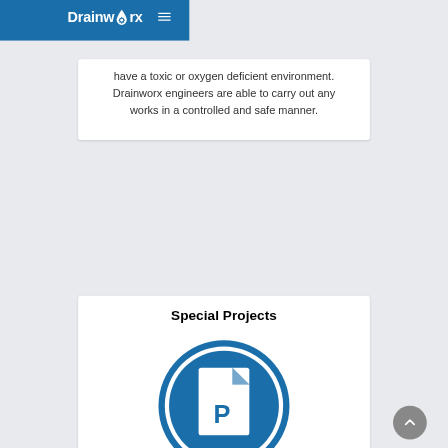Drainworx
have a toxic or oxygen deficient environment. Drainworx engineers are able to carry out any works in a controlled and safe manner.
Special Projects
[Figure (illustration): A circular blue icon with a white document/page symbol containing the letter P, representing Special Projects]